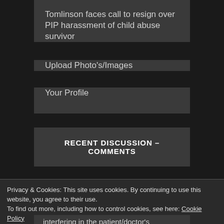Tomlinson faces call to resign over PIP harassment of child abuse survivor
Upload Photo's/Images
Your Profile
RECENT DISCUSSION – COMMENTS
Privacy & Cookies: This site uses cookies. By continuing to use this website, you agree to their use.
To find out more, including how to control cookies, see here: Cookie Policy
interfering in the patient/doctor's